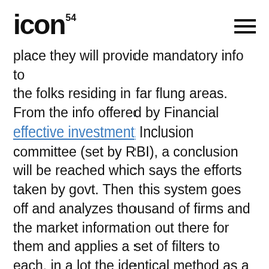ICON⁵⁴
place they will provide mandatory info to the folks residing in far flung areas. From the info offered by Financial effective investment Inclusion committee (set by RBI), a conclusion will be reached which says the efforts taken by govt. Then this system goes off and analyzes thousand of firms and the market information out there for them and applies a set of filters to each, in a lot the identical method as a broker would.
Related news:
wsm investments